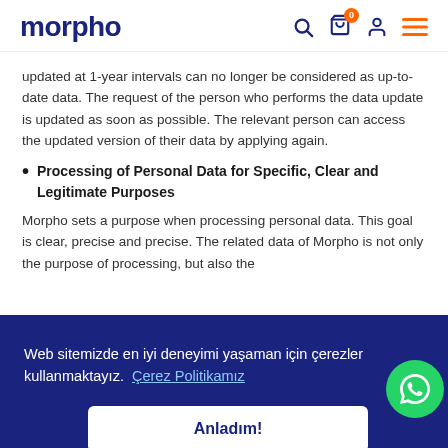morpho
updated at 1-year intervals can no longer be considered as up-to-date data. The request of the person who performs the data update is updated as soon as possible. The relevant person can access the updated version of their data by applying again.
Processing of Personal Data for Specific, Clear and Legitimate Purposes
Morpho sets a purpose when processing personal data. This goal is clear, precise and precise. The related data of Morpho is not only the purpose of processing, but also the [partially obscured text]
than the purpose of collecting data with a data, express consent is obtained from the person concerned, provided [partially obscured text]